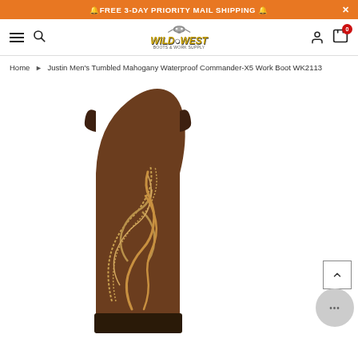🔔FREE 3-DAY PRIORITY MAIL SHIPPING 🔔
[Figure (screenshot): Wild West Boots & Work Supply store navigation bar with hamburger menu, search icon, Wild West logo (bull skull above stylized text), user account icon, and cart icon with 0 badge]
Home ▶ Justin Men's Tumbled Mahogany Waterproof Commander-X5 Work Boot WK2113
[Figure (photo): Close-up photo of a brown leather cowboy/work boot (Justin Men's Tumbled Mahogany Waterproof Commander-X5 Work Boot WK2113) showing the upper shaft with decorative stitching in tan/gold swirling patterns against mahogany brown leather, dark pull tabs at top]